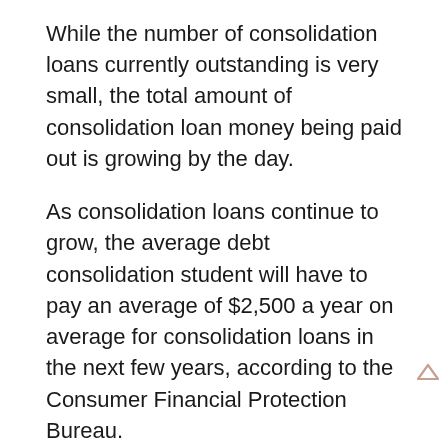While the number of consolidation loans currently outstanding is very small, the total amount of consolidation loan money being paid out is growing by the day.
As consolidation loans continue to grow, the average debt consolidation student will have to pay an average of $2,500 a year on average for consolidation loans in the next few years, according to the Consumer Financial Protection Bureau.
Even with consolidation loans now being used as the primary source of college debt, the percentage of student loans